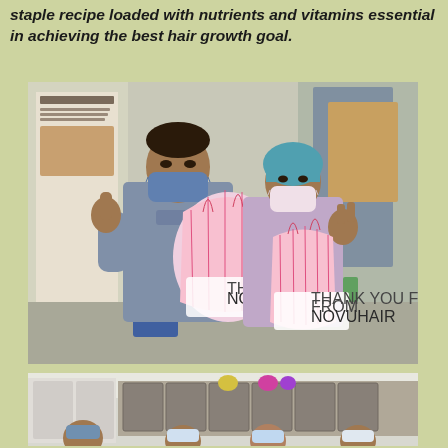staple recipe loaded with nutrients and vitamins essential in achieving the best hair growth goal.
[Figure (photo): Two healthcare workers wearing face masks holding red and white striped gift bags labeled 'Thank You Frontliners from Novuhair', giving thumbs up gestures, standing in what appears to be a medical facility.]
[Figure (photo): Group of people wearing face masks standing behind a counter or desk in an indoor setting, partially visible at bottom of page.]